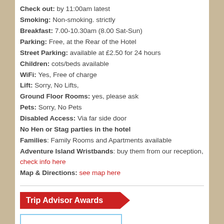Check out: by 11:00am latest
Smoking: Non-smoking. strictly
Breakfast: 7.00-10.30am (8.00 Sat-Sun)
Parking: Free, at the Rear of the Hotel
Street Parking: available at £2.50 for 24 hours
Children: cots/beds available
WiFi: Yes, Free of charge
Lift: Sorry, No Lifts,
Ground Floor Rooms: yes, please ask
Pets: Sorry, No Pets
Disabled Access: Via far side door
No Hen or Stag parties in the hotel
Families: Family Rooms and Apartments available
Adventure Island Wristbands: buy them from our reception, check info here
Map  & Directions: see map here
Trip Advisor Awards